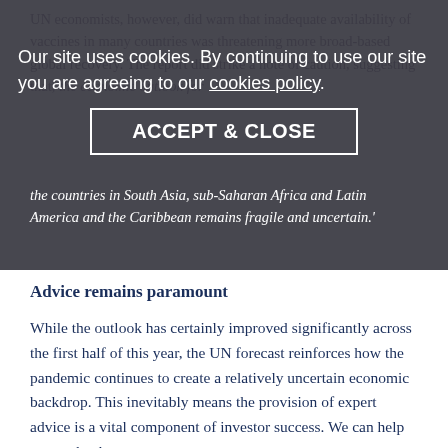UN economists, however, did warn that inadequate availability of vaccines in many countries was threatening more broad-based global recovery. The report did strike a note of caution, suggesting that, the economic outlook for the countries in South Asia, sub-Saharan Africa and Latin America and the Caribbean remains fragile and uncertain.'
Our site uses cookies. By continuing to use our site you are agreeing to our cookies policy.
ACCEPT & CLOSE
Advice remains paramount
While the outlook has certainly improved significantly across the first half of this year, the UN forecast reinforces how the pandemic continues to create a relatively uncertain economic backdrop. This inevitably means the provision of expert advice is a vital component of investor success. We can help you make the most